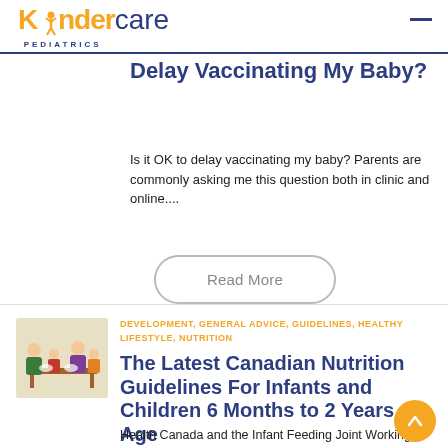Kindercare PEDIATRICS
Delay Vaccinating My Baby?
Is it OK to delay vaccinating my baby? Parents are commonly asking me this question both in clinic and online....
Read More
[Figure (illustration): Illustration of a family (adults and children) sitting around a table eating together]
DEVELOPMENT, GENERAL ADVICE, GUIDELINES, HEALTHY LIFESTYLE, NUTRITION
The Latest Canadian Nutrition Guidelines For Infants and Children 6 Months to 2 Years of Age
Health Canada and the Infant Feeding Joint Working